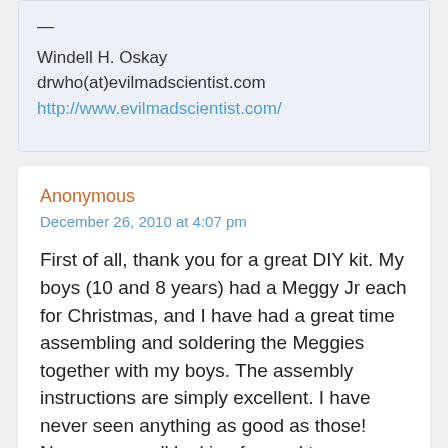—
Windell H. Oskay
drwho(at)evilmadscientist.com
http://www.evilmadscientist.com/
Anonymous
December 26, 2010 at 4:07 pm
First of all, thank you for a great DIY kit. My boys (10 and 8 years) had a Meggy Jr each for Christmas, and I have had a great time assembling and soldering the Meggies together with my boys. The assembly instructions are simply excellent. I have never seen anything as good as those! Now, we are all looking forward to programming the Meggies.